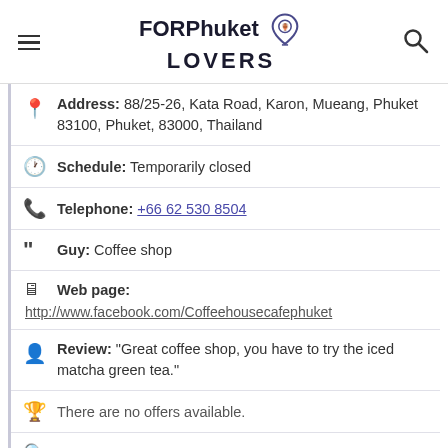FORPhuket LOVERS
Address: 88/25-26, Kata Road, Karon, Mueang, Phuket 83100, Phuket, 83000, Thailand
Schedule: Temporarily closed
Telephone: +66 62 530 8504
Guy: Coffee shop
Web page: http://www.facebook.com/Coffeehousecafephuket
Review: "Great coffee shop, you have to try the iced matcha green tea."
There are no offers available.
Near Coffee House Cafe:
a 1 meters away vegetarian fast food restaurants in: